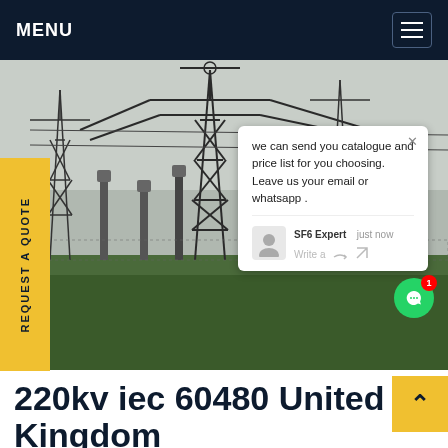MENU
[Figure (photo): Electrical substation with high-voltage transmission towers and equipment, photographed from ground level against an overcast sky. Steel lattice pylons and switchgear visible on a grass field.]
REQUEST A QUOTE
we can send you catalogue and price list for you choosing. Leave us your email or whatsapp .
SF6 Expert   just now
Write a
220kv iec 60480 United Kingdom